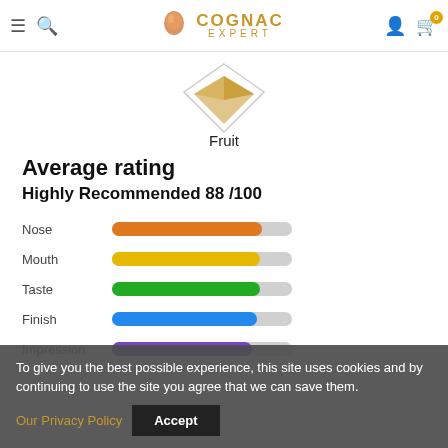COGNAC EXPERT
[Figure (illustration): Diamond/crystal shape icon above the Fruit label]
Fruit
Average rating
Highly Recommended 88 /100
[Figure (bar-chart): Rating bars]
To give you the best possible experience, this site uses cookies and by continuing to use the site you agree that we can save them. Our Privacy Policy Accept